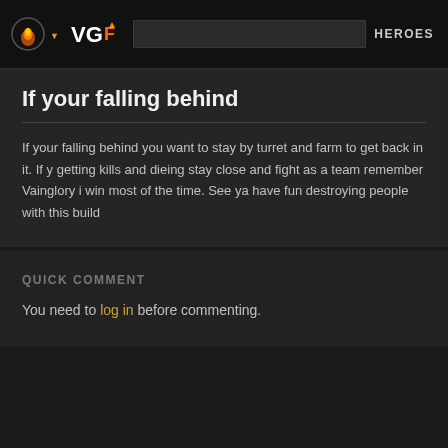VGF  HEROES
If your falling behind
If your falling behind you want to stay by turret and farm to get back in it. If y getting kills and dieing stay close and fight as a team remember Vainglory i win most of the time. See ya have fun destroying people with this build
QUICK COMMENT
You need to log in before commenting.